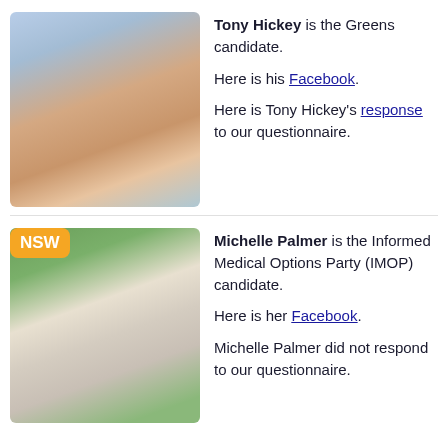[Figure (photo): Headshot of Tony Hickey, a bald middle-aged man smiling, wearing a floral shirt, with a coastal cliff background.]
Tony Hickey is the Greens candidate.

Here is his Facebook.

Here is Tony Hickey's response to our questionnaire.
[Figure (photo): Headshot of Michelle Palmer, a woman with short silver-white hair smiling, with green foliage background. An orange NSW badge is in the top-left corner.]
Michelle Palmer is the Informed Medical Options Party (IMOP) candidate.

Here is her Facebook.

Michelle Palmer did not respond to our questionnaire.